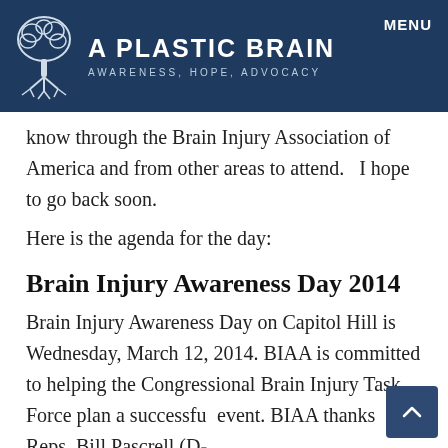A PLASTIC BRAIN AWARENESS, HOPE, ADVOCACY MENU
know through the Brain Injury Association of America and from other areas to attend.   I hope to go back soon.
Here is the agenda for the day:
Brain Injury Awareness Day 2014
Brain Injury Awareness Day on Capitol Hill is Wednesday, March 12, 2014. BIAA is committed to helping the Congressional Brain Injury Task Force plan a successful event. BIAA thanks Reps. Bill Pascrell (D-